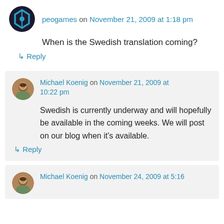peogames on November 21, 2009 at 1:18 pm
When is the Swedish translation coming?
↳ Reply
Michael Koenig on November 21, 2009 at 10:22 pm
Swedish is currently underway and will hopefully be available in the coming weeks. We will post on our blog when it's available.
↳ Reply
Michael Koenig on November 24, 2009 at 5:16